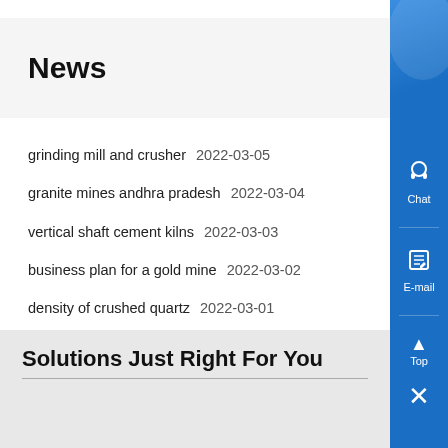News
grinding mill and crusher  2022-03-05
granite mines andhra pradesh  2022-03-04
vertical shaft cement kilns  2022-03-03
business plan for a gold mine  2022-03-02
density of crushed quartz  2022-03-01
Solutions Just Right For You